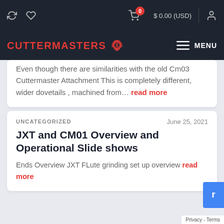0  $ 0.00 (USD)  CUTTERMASTERS  MENU
Even though there are similarities with the old Cm03 Cuttermaster Attachment This is completely different, wider dovetails , machined from… read more
UNCATEGORIZED  June 25, 2021
JXT and CM01 Overview and Operational Slide shows
Ends Overview JXT FLute grinding set up overview read more